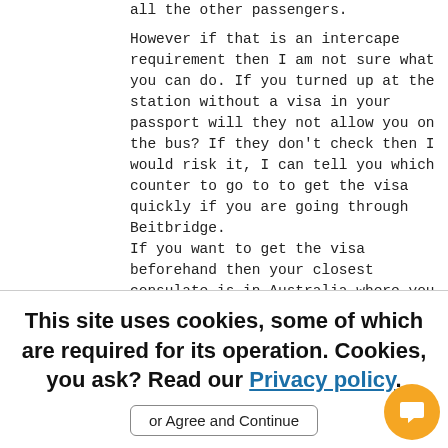all the other passengers.

However if that is an intercape requirement then I am not sure what you can do. If you turned up at the station without a visa in your passport will they not allow you on the bus? If they don't check then I would risk it, I can tell you which counter to go to to get the visa quickly if you are going through Beitbridge.
If you want to get the visa beforehand then your closest consulate is in Australia where you will have to send you passport to. There is an online e-visa application but I have not heard of
This site uses cookies, some of which are required for its operation. Cookies, you ask? Read our Privacy policy.
or Agree and Continue